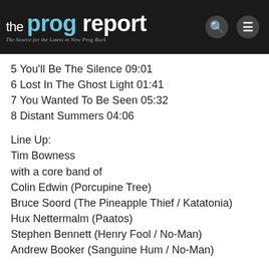the prog report — The Source for the Latest in New Prog Rock
5 You'll Be The Silence 09:01
6 Lost In The Ghost Light 01:41
7 You Wanted To Be Seen 05:32
8 Distant Summers 04:06
Line Up:
Tim Bowness
with a core band of
Colin Edwin (Porcupine Tree)
Bruce Soord (The Pineapple Thief / Katatonia)
Hux Nettermalm (Paatos)
Stephen Bennett (Henry Fool / No-Man)
Andrew Booker (Sanguine Hum / No-Man)
Guests on the album:
Ian Anderson (Jethro Tull)
Kit Watkins (Happy The Man / Camel)